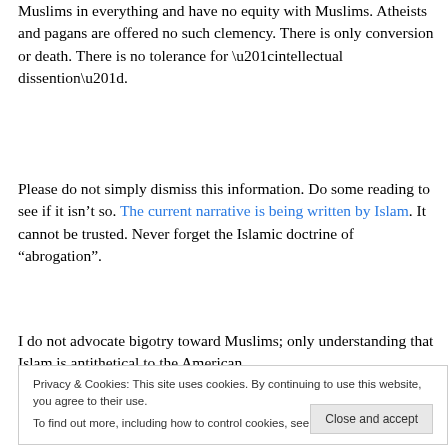Muslims in everything and have no equity with Muslims. Atheists and pagans are offered no such clemency. There is only conversion or death. There is no tolerance for “intellectual dissention”.
Please do not simply dismiss this information. Do some reading to see if it isn’t so. The current narrative is being written by Islam. It cannot be trusted. Never forget the Islamic doctrine of “abrogation”.
I do not advocate bigotry toward Muslims; only understanding that Islam is antithetical to the American
Privacy & Cookies: This site uses cookies. By continuing to use this website, you agree to their use. To find out more, including how to control cookies, see here: Cookie Policy